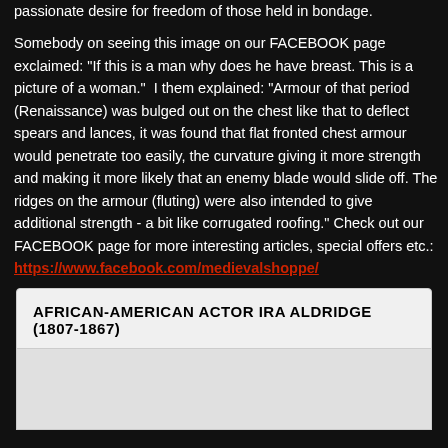passionate desire for freedom of those held in bondage.

Somebody on seeing this image on our FACEBOOK page exclaimed: "If this is a man why does he have breast. This is a picture of a woman." I them explained: "Armour of that period (Renaissance) was bulged out on the chest like that to deflect spears and lances, it was found that flat fronted chest armour would penetrate too easily, the curvature giving it more strength and making it more likely that an enemy blade would slide off. The ridges on the armour (fluting) were also intended to give additional strength - a bit like corrugated roofing." Check out our FACEBOOK page for more interesting articles, special offers etc.: https://www.facebook.com/medievalshoppe/
AFRICAN-AMERICAN ACTOR IRA ALDRIDGE (1807-1867)
[Figure (photo): Blank/white image placeholder area below the section header]